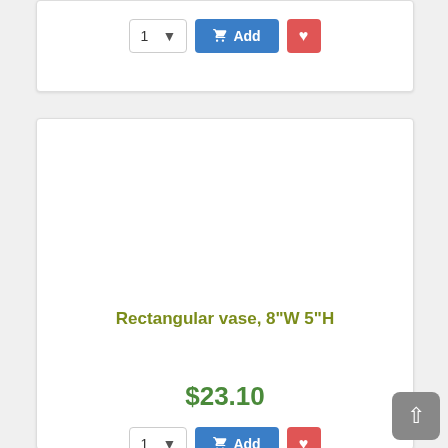[Figure (screenshot): Top portion of a product card with quantity selector (1 with dropdown), blue Add to cart button with cart icon, and red heart/wishlist button]
[Figure (screenshot): Product card for 'Rectangular vase, 8"W 5"H' priced at $23.10 with quantity selector, Add to cart button, and wishlist button]
Rectangular vase, 8"W 5"H
$23.10